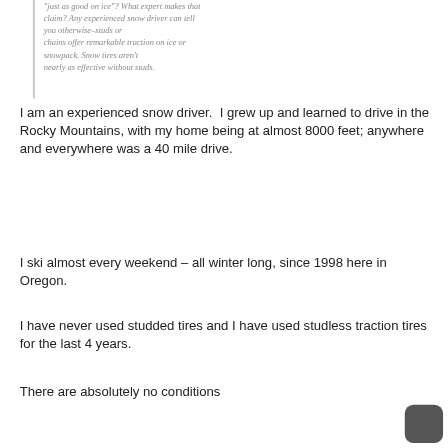"just as good on ice"? What expert makes that claim? Any experienced snow driver can tell you otherwise–studs or chains offer remarkable traction on ice or snowpack. Snow tires aren't nearly as effective without studs.
I am an experienced snow driver.  I grew up and learned to drive in the Rocky Mountains, with my home being at almost 8000 feet; anywhere and everywhere was a 40 mile drive.
I ski almost every weekend – all winter long, since 1998 here in Oregon.
I have never used studded tires and I have used studless traction tires for the last 4 years.
There are absolutely no conditions